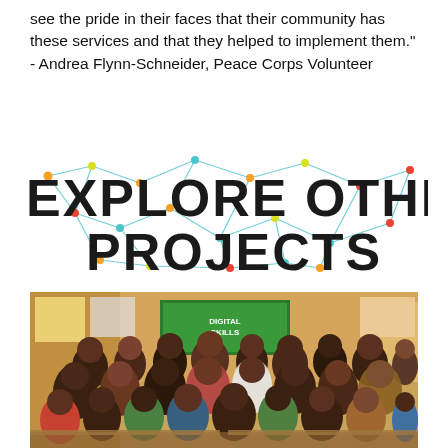see the pride in their faces that their community has these services and that they helped to implement them." - Andrea Flynn-Schneider, Peace Corps Volunteer
[Figure (logo): EXPLORE OTHER PROJECTS logo with geometric network/constellation lines connecting nodes (colored dots in orange, yellow, green, blue) overlaid on blocky dark letters]
[Figure (photo): Large group photo of many children and a few adults in a classroom setting. A banner in the background reads 'DIGITAL SKILLS'. The classroom has yellow/orange walls with posters. Children are smiling and waving at the camera.]